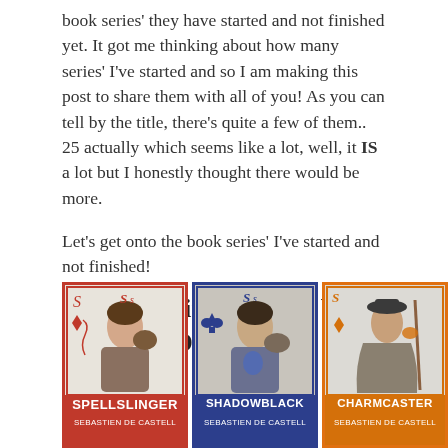book series' they have started and not finished yet. It got me thinking about how many series' I've started and so I am making this post to share them with all of you! As you can tell by the title, there's quite a few of them.. 25 actually which seems like a lot, well, it IS a lot but I honestly thought there would be more.
Let's get onto the book series' I've started and not finished!
The Spellslinger Series by Sebastien De Castell
[Figure (photo): Three book covers side by side: Spellslinger (red border), Shadowblack (blue border), and Charmcaster (orange border), all by Sebastien De Castell. Each features an illustrated young man in a playing-card style design.]